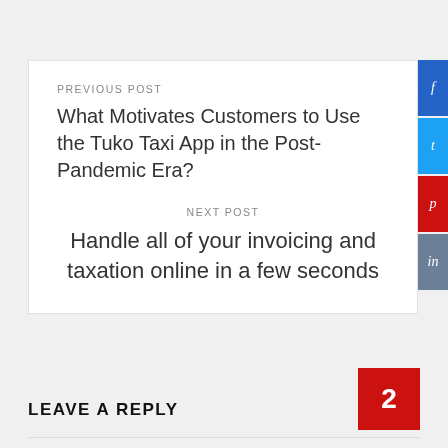PREVIOUS POST
What Motivates Customers to Use the Tuko Taxi App in the Post-Pandemic Era?
NEXT POST
Handle all of your invoicing and taxation online in a few seconds
LEAVE A REPLY